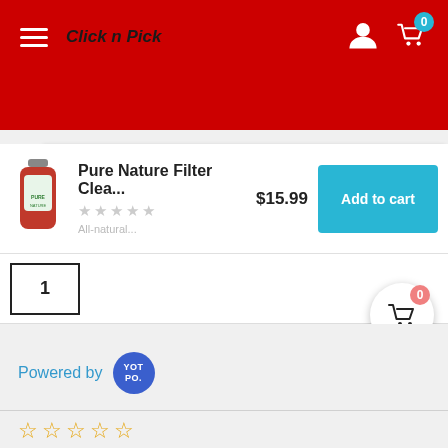[Figure (screenshot): Click n Pick e-commerce website header with red background, hamburger menu, brand name, user icon, and cart icon with badge showing 0]
[Figure (screenshot): Search bar with placeholder text 'Search...' and teal search button]
Pure Nature Filter Clea... $15.99
[Figure (screenshot): Add to cart button in teal]
1
[Figure (screenshot): Floating cart icon with red badge showing 0]
Powered by
[Figure (logo): YOTPO circular badge logo in blue]
[Figure (screenshot): Five empty star rating icons in gold/orange outline]